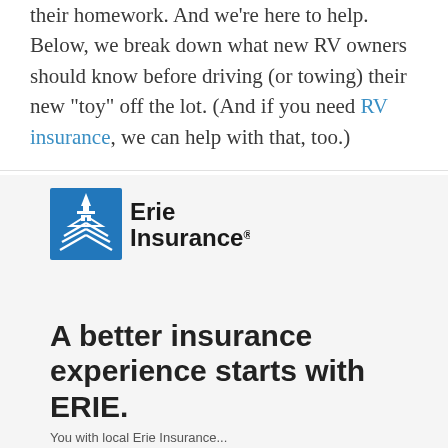their homework. And we're here to help. Below, we break down what new RV owners should know before driving (or towing) their new "toy" off the lot. (And if you need RV insurance, we can help with that, too.)
[Figure (logo): Erie Insurance logo — blue square with stylized church/building icon and 'Erie Insurance' text in black]
A better insurance experience starts with ERIE.
You with local Erie Insurance...